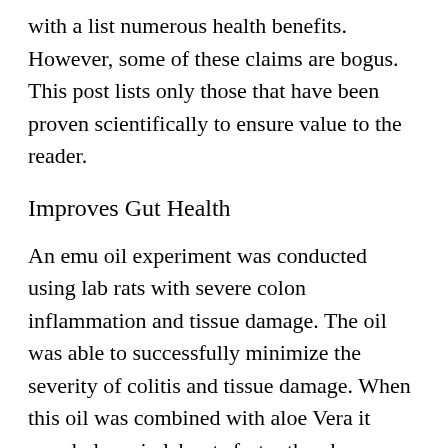with a list numerous health benefits. However, some of these claims are bogus. This post lists only those that have been proven scientifically to ensure value to the reader.
Improves Gut Health
An emu oil experiment was conducted using lab rats with severe colon inflammation and tissue damage. The oil was able to successfully minimize the severity of colitis and tissue damage. When this oil was combined with aloe Vera it cured ulcers in lab rats faster than known prescription medicine. In humans emu oil capsules helps improve gut health in a similar manner as it did in that scientific lab experiment.
Helps Hydrate the Skin and offers other Health